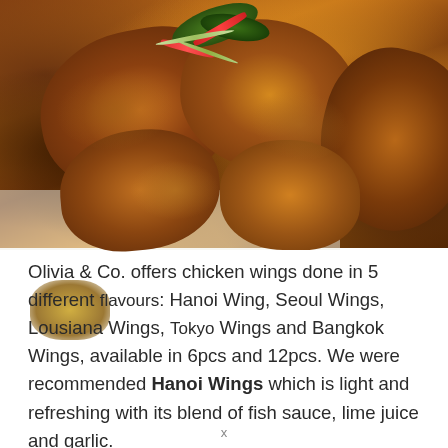[Figure (photo): Close-up photo of fried chicken wings with a crispy golden-brown coating, garnished with fresh herbs (cilantro/parsley), sliced red chili peppers, and spring onions on top. Some sauce is visible dripping on the left side. The wings are arranged on what appears to be white paper or a tray.]
Olivia & Co. offers chicken wings done in 5 different flavours: Hanoi Wing, Seoul Wings, Lousiana Wings, Tokyo Wings and Bangkok Wings, available in 6pcs and 12pcs. We were recommended Hanoi Wings which is light and refreshing with its blend of fish sauce, lime juice and garlic.